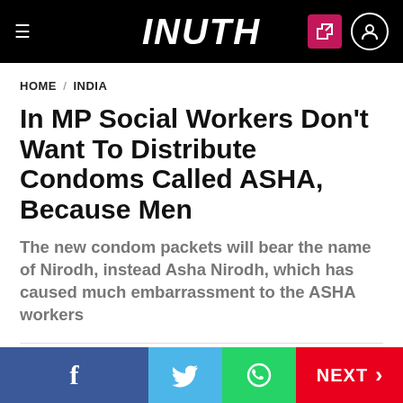INUTH
HOME / INDIA
In MP Social Workers Don't Want To Distribute Condoms Called ASHA, Because Men
The new condom packets will bear the name of Nirodh, instead Asha Nirodh, which has caused much embarrassment to the ASHA workers